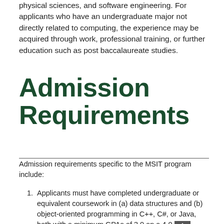physical sciences, and software engineering. For applicants who have an undergraduate major not directly related to computing, the experience may be acquired through work, professional training, or further education such as post baccalaureate studies.
Admission Requirements
Admission requirements specific to the MSIT program include:
Applicants must have completed undergraduate or equivalent coursework in (a) data structures and (b) object-oriented programming in C++, C#, or Java, both with a minimum GPAs of 3.0 on a 4.0 scale. Applicants who have substantial work